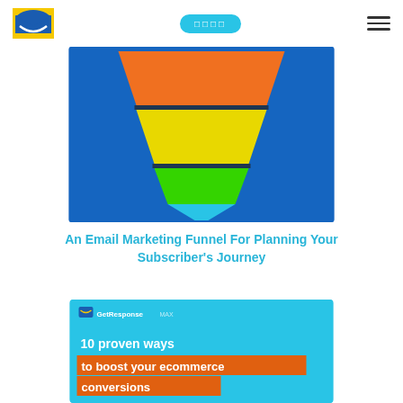[Figure (logo): GetResponse logo — envelope icon in blue and yellow]
□□□□
[Figure (illustration): Colorful funnel graphic with orange top, yellow middle, green bottom, on blue background]
An Email Marketing Funnel For Planning Your Subscriber's Journey
[Figure (infographic): GetResponse MAX banner: '10 proven ways to boost your ecommerce conversions' on cyan background with orange highlight]